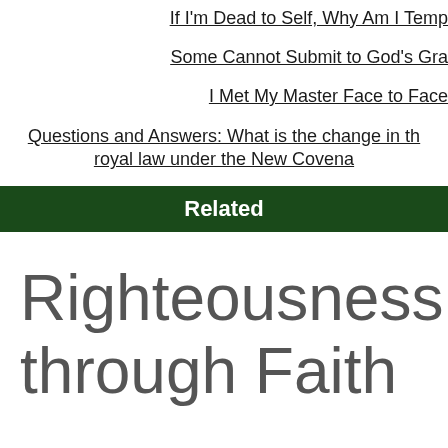If I'm Dead to Self, Why Am I Temp…
Some Cannot Submit to God's Gra…
I Met My Master Face to Face
Questions and Answers: What is the change in the royal law under the New Covena…
Related
Righteousness by G… through Faith